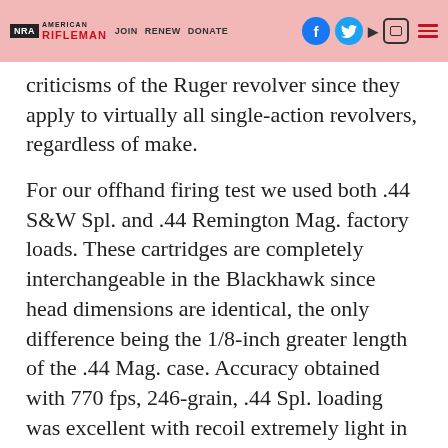NRA EXPLORE AMERICAN RIFLEMAN JOIN RENEW DONATE [social icons]
criticisms of the Ruger revolver since they apply to virtually all single-action revolvers, regardless of make.
For our offhand firing test we used both .44 S&W Spl. and .44 Remington Mag. factory loads. These cartridges are completely interchangeable in the Blackhawk since head dimensions are identical, the only difference being the 1/8-inch greater length of the .44 Mag. case. Accuracy obtained with 770 fps, 246-grain, .44 Spl. loading was excellent with recoil extremely light in this relatively heavy 2 ½ pound gun. We then switched to the heavier 1570 fps, 240-grain, .44 Mag. loading which in the enclosed range gave a truly spectacular muzzle flash. Accuracy was excellent although average groups were somewhat